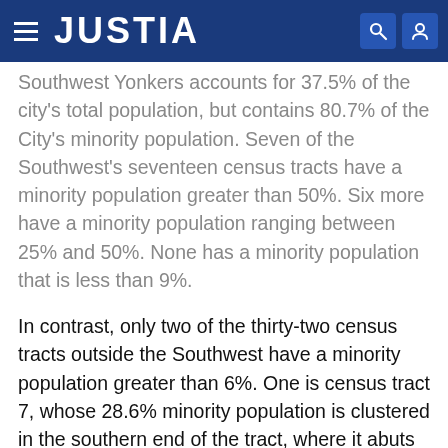JUSTIA
Southwest Yonkers accounts for 37.5% of the city's total population, but contains 80.7% of the City's minority population. Seven of the Southwest's seventeen census tracts have a minority population greater than 50%. Six more have a minority population ranging between 25% and 50%. None has a minority population that is less than 9%.
In contrast, only two of the thirty-two census tracts outside the Southwest have a minority population greater than 6%. One is census tract 7, whose 28.6% minority population is clustered in the southern end of the tract, where it abuts Southwest Yonkers and along the Hudson Division Railroad on the western edge of the tract.[7] The second is census tract 18 in East Yonkers, which contains Runyon Heights, a longstanding enclave of black home owners, and the site of Hall Court, the only subsidized housing project for families that is